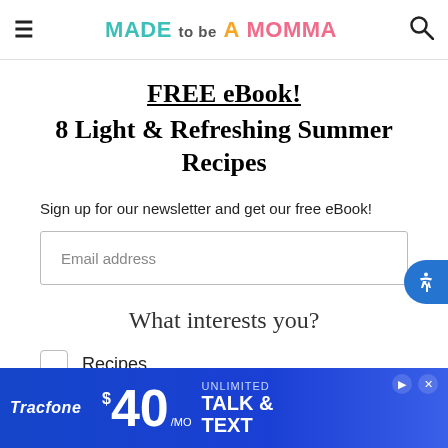MADE to be A MOMMA
FREE eBook!
8 Light & Refreshing Summer Recipes
Sign up for our newsletter and get our free eBook!
Email address
What interests you?
Recipes
Crafts
[Figure (screenshot): Tracfone advertisement banner: $40/MO UNLIMITED TALK & TEXT on blue background]